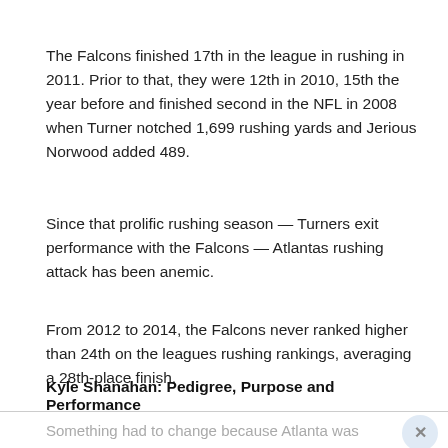The Falcons finished 17th in the league in rushing in 2011. Prior to that, they were 12th in 2010, 15th the year before and finished second in the NFL in 2008 when Turner notched 1,699 rushing yards and Jerious Norwood added 489.
Since that prolific rushing season — Turners exit performance with the Falcons — Atlantas rushing attack has been anemic.
From 2012 to 2014, the Falcons never ranked higher than 24th on the leagues rushing rankings, averaging a 28th-place finish.
Kyle Shanahan: Pedigree, Purpose and Performance
Something had to change because Atlanta was quickly